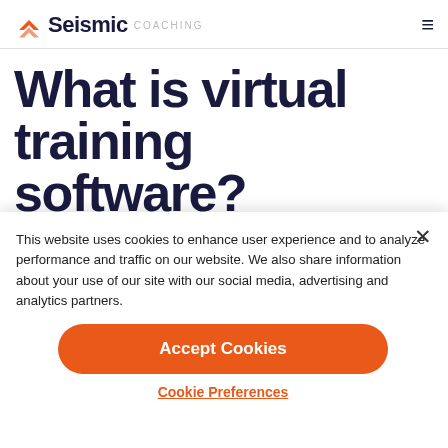Seismic COACHING
What is virtual training software?
This website uses cookies to enhance user experience and to analyze performance and traffic on our website. We also share information about your use of our site with our social media, advertising and analytics partners.
Accept Cookies
Cookie Preferences